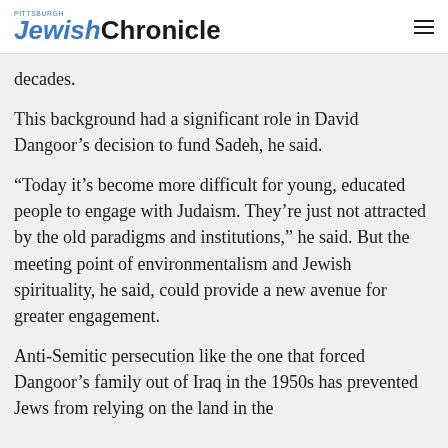PITTSBURGH JewishChronicle
decades.
This background had a significant role in David Dangoor’s decision to fund Sadeh, he said.
“Today it’s become more difficult for young, educated people to engage with Judaism. They’re just not attracted by the old paradigms and institutions,” he said. But the meeting point of environmentalism and Jewish spirituality, he said, could provide a new avenue for greater engagement.
Anti-Semitic persecution like the one that forced Dangoor’s family out of Iraq in the 1950s has prevented Jews from relying on the land in the